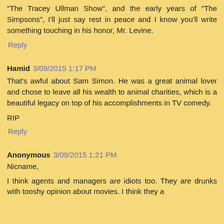"The Tracey Ullman Show", and the early years of "The Simpsons", I'll just say rest in peace and I know you'll write something touching in his honor, Mr. Levine.
Reply
Hamid  3/09/2015 1:17 PM
That's awful about Sam Simon. He was a great animal lover and chose to leave all his wealth to animal charities, which is a beautiful legacy on top of his accomplishments in TV comedy.
RIP
Reply
Anonymous  3/09/2015 1:21 PM
Nicname,
I think agents and managers are idiots too. They are drunks with tooshy opinion about movies. I think they a